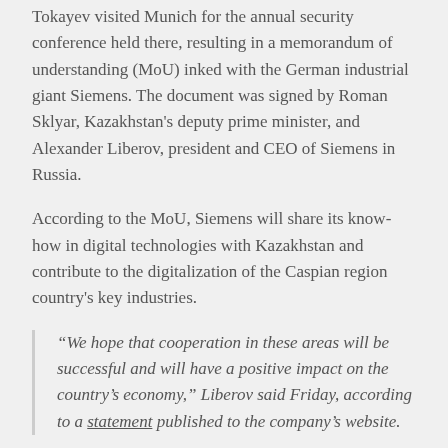Tokayev visited Munich for the annual security conference held there, resulting in a memorandum of understanding (MoU) inked with the German industrial giant Siemens. The document was signed by Roman Sklyar, Kazakhstan's deputy prime minister, and Alexander Liberov, president and CEO of Siemens in Russia.
According to the MoU, Siemens will share its know-how in digital technologies with Kazakhstan and contribute to the digitalization of the Caspian region country's key industries.
“We hope that cooperation in these areas will be successful and will have a positive impact on the country’s economy,” Liberov said Friday, according to a statement published to the company’s website.